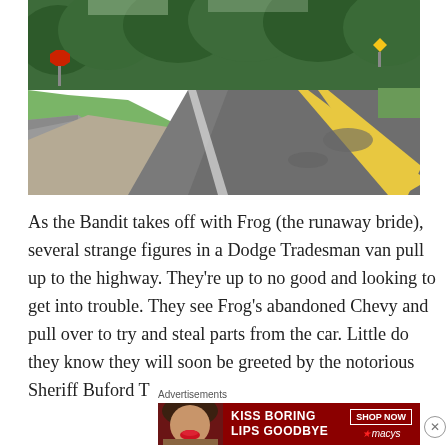[Figure (photo): A two-lane rural highway with double yellow center lines curving to the left, bordered by green grass and trees. A side road intersects on the left with a stop sign visible.]
As the Bandit takes off with Frog (the runaway bride), several strange figures in a Dodge Tradesman van pull up to the highway. They're up to no good and looking to get into trouble. They see Frog's abandoned Chevy and pull over to try and steal parts from the car. Little do they know they will soon be greeted by the notorious Sheriff Buford T
Advertisements
[Figure (screenshot): Advertisement banner for Macy's: 'KISS BORING LIPS GOODBYE' with SHOP NOW button and Macy's star logo on dark red background, featuring a woman's face with red lips.]